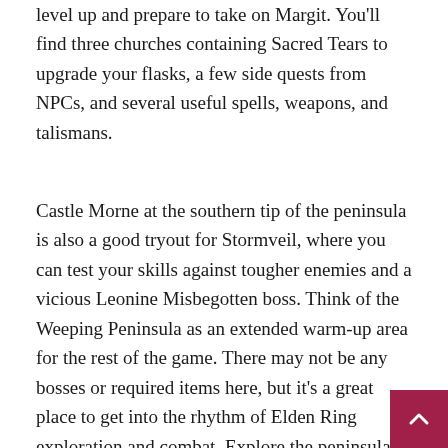level up and prepare to take on Margit. You'll find three churches containing Sacred Tears to upgrade your flasks, a few side quests from NPCs, and several useful spells, weapons, and talismans.
Castle Morne at the southern tip of the peninsula is also a good tryout for Stormveil, where you can test your skills against tougher enemies and a vicious Leonine Misbegotten boss. Think of the Weeping Peninsula as an extended warm-up area for the rest of the game. There may not be any bosses or required items here, but it's a great place to get into the rhythm of Elden Ring exploration and combat. Explore the peninsula and the Limgrave at your own pace until you feel ready to give Margit a try.
Follow these steps and you'll be over Elden Ring's toughest challenges in no time! It's a game of options, but those options really open up once you've covered those essentials. If you